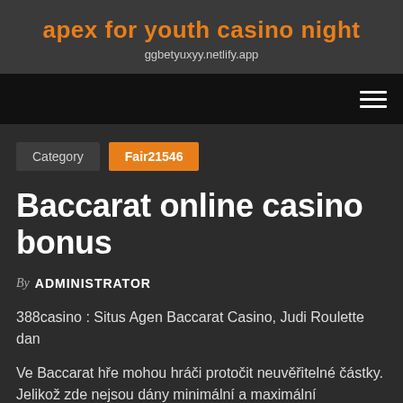apex for youth casino night
ggbetyuxyy.netlify.app
Category  Fair21546
Baccarat online casino bonus
By ADMINISTRATOR
388casino : Situs Agen Baccarat Casino, Judi Roulette dan
Ve Baccarat hře mohou hráči protočit neuvěřitelné částky. Jelikož zde nejsou dány minimální a maximální požadavky